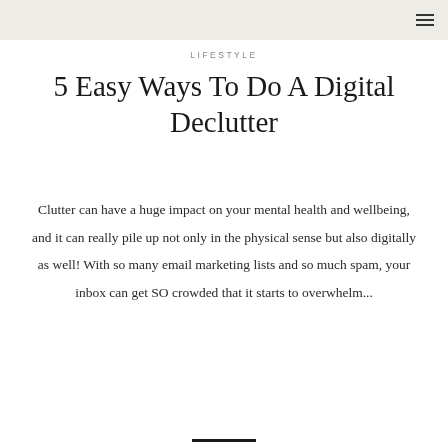LIFESTYLE
5 Easy Ways To Do A Digital Declutter
Clutter can have a huge impact on your mental health and wellbeing, and it can really pile up not only in the physical sense but also digitally as well! With so many email marketing lists and so much spam, your inbox can get SO crowded that it starts to overwhelm...